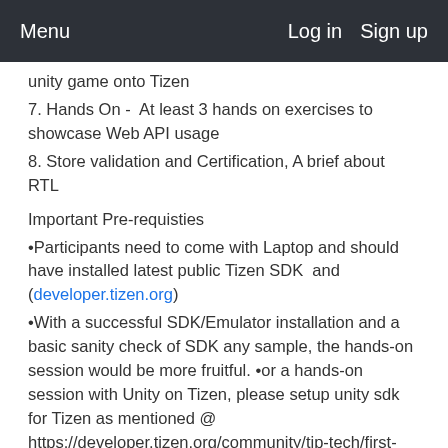Menu    Log in   Sign up
unity game onto Tizen
7. Hands On -  At least 3 hands on exercises to showcase Web API usage
8. Store validation and Certification, A brief about RTL
Important Pre-requisties
•Participants need to come with Laptop and should have installed latest public Tizen SDK  and (developer.tizen.org)
•With a successful SDK/Emulator installation and a basic sanity check of SDK any sample, the hands-on session would be more fruitful. •or a hands-on session with Unity on Tizen, please setup unity sdk for Tizen as mentioned @ https://developer.tizen.org/community/tip-tech/first-steps-unity-tizen-part-1 • •This would enable you to follow the demo & hands-on session @ the Tizen Devlab •SDK Pre-Installation Instructions
•Kindly carry your own laptop for the event (Minimum 3GB